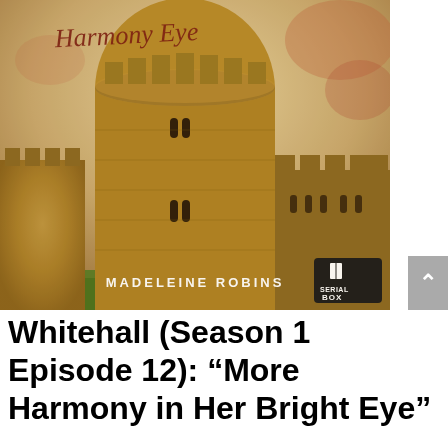[Figure (illustration): Book cover for Whitehall Season 1 Episode 12: More Harmony in Her Bright Eye, by Madeleine Robins. Published by Serial Box. Shows a medieval stone castle tower with battlements against a sepia/golden-toned sky. Cursive title text at top in dark red. Author name MADELEINE ROBINS in white text at bottom center. Serial Box logo in bottom right corner.]
Whitehall (Season 1 Episode 12): “More Harmony in Her Bright Eye”